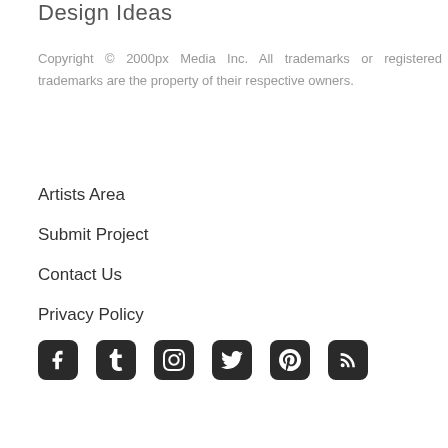Design Ideas
Copyright © 2000px Media Inc. All trademarks or registered trademarks are the property of their respective owners.
Artists Area
Submit Project
Contact Us
Privacy Policy
[Figure (infographic): Row of six social media icons: Facebook, Tumblr, Instagram, Twitter, Pinterest, RSS feed — dark rounded square icons with white symbols]